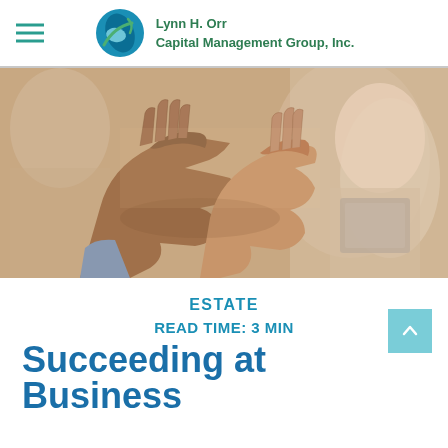Lynn H. Orr Capital Management Group, Inc.
[Figure (photo): Close-up of two people clapping hands together, with blurred figures in the background holding a book or device.]
ESTATE
READ TIME: 3 MIN
Succeeding at Business